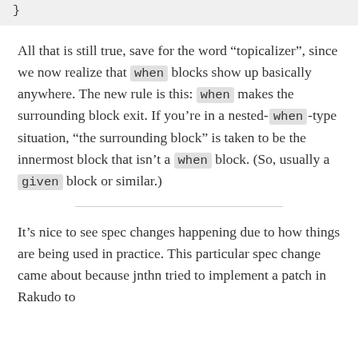}
All that is still true, save for the word “topicalizer”, since we now realize that when blocks show up basically anywhere. The new rule is this: when makes the surrounding block exit. If you’re in a nested- when -type situation, “the surrounding block” is taken to be the innermost block that isn’t a when block. (So, usually a given block or similar.)
It’s nice to see spec changes happening due to how things are being used in practice. This particular spec change came about because jnthn tried to implement a patch in Rakudo to